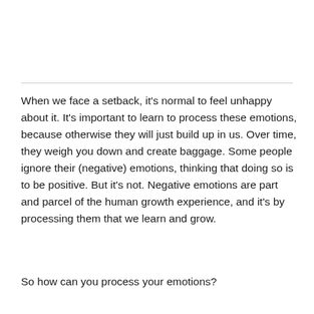When we face a setback, it's normal to feel unhappy about it. It's important to learn to process these emotions, because otherwise they will just build up in us. Over time, they weigh you down and create baggage. Some people ignore their (negative) emotions, thinking that doing so is to be positive. But it's not. Negative emotions are part and parcel of the human growth experience, and it's by processing them that we learn and grow.
So how can you process your emotions?